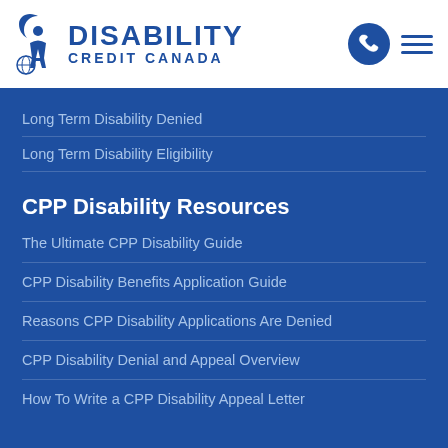Disability Credit Canada
Long Term Disability Denied
Long Term Disability Eligibility
CPP Disability Resources
The Ultimate CPP Disability Guide
CPP Disability Benefits Application Guide
Reasons CPP Disability Applications Are Denied
CPP Disability Denial and Appeal Overview
How To Write a CPP Disability Appeal Letter